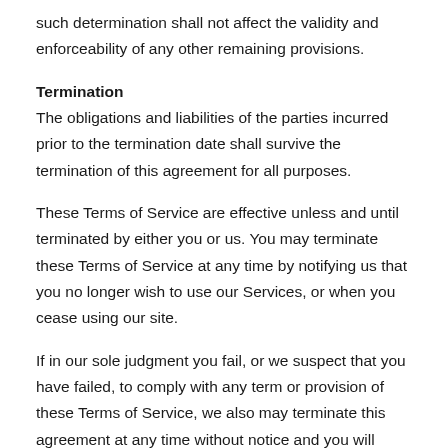such determination shall not affect the validity and enforceability of any other remaining provisions.
Termination
The obligations and liabilities of the parties incurred prior to the termination date shall survive the termination of this agreement for all purposes.
These Terms of Service are effective unless and until terminated by either you or us. You may terminate these Terms of Service at any time by notifying us that you no longer wish to use our Services, or when you cease using our site.
If in our sole judgment you fail, or we suspect that you have failed, to comply with any term or provision of these Terms of Service, we also may terminate this agreement at any time without notice and you will remain liable for all amounts due up to and including the date of termination; and/or accordingly